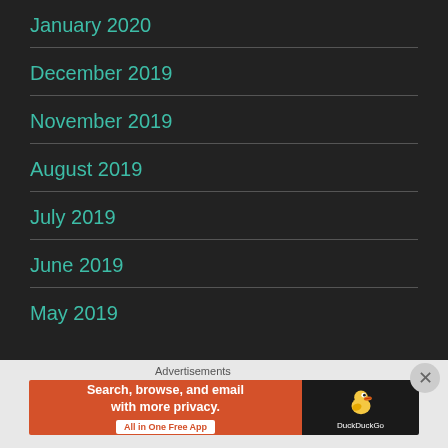January 2020
December 2019
November 2019
August 2019
July 2019
June 2019
May 2019
[Figure (screenshot): DuckDuckGo advertisement banner: orange left panel with text 'Search, browse, and email with more privacy. All in One Free App' and dark right panel with DuckDuckGo duck logo and brand name.]